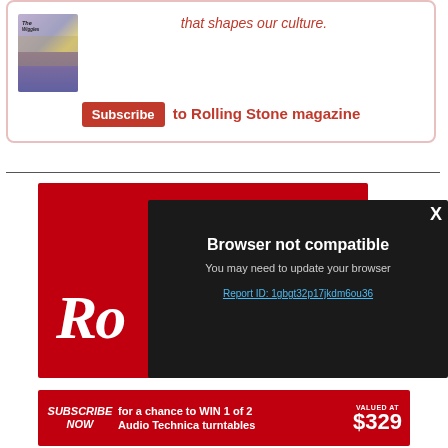[Figure (illustration): Partial view of Rolling Stone magazine cover showing The Wiggles]
that shapes our culture.
Subscribe to Rolling Stone magazine
[Figure (screenshot): Rolling Stone magazine red advertisement banner with 'Ro' logo visible]
[Figure (screenshot): Browser not compatible modal dialog with dark background, showing message 'You may need to update your browser' and Report ID: 1gbgt32p17jkdm6ou36]
SUBSCRIBE NOW for a chance to WIN 1 of 2 Audio Technica turntables VALUED AT $329